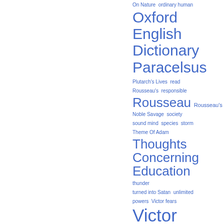[Figure (other): A tag cloud (word cloud) showing index terms related to Frankenstein and related topics, displayed in varying font sizes in blue. Larger text indicates higher frequency/importance. Terms include: On Nature, ordinary human, Oxford English Dictionary, Paracelsus, Plutarch's Lives, read, Rousseau's, responsible, Rousseau, Rousseau's Noble Savage, society, sound mind, species, storm, Theme Of Adam, Thoughts Concerning Education, thunder, turned into Satan, unlimited powers, Victor fears, Victor Frankenstein, Victor utterly fails, Victor's]